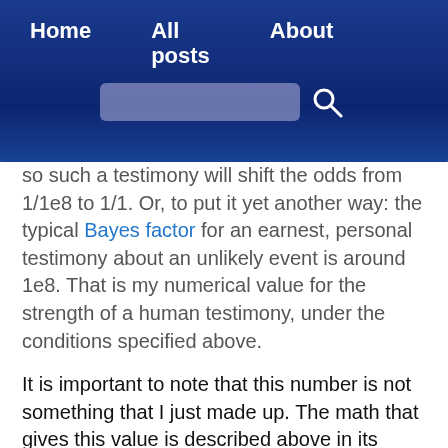Home   All posts   About
so such a testimony will shift the odds from 1/1e8 to 1/1. Or, to put it yet another way: the typical Bayes factor for an earnest, personal testimony about an unlikely event is around 1e8. That is my numerical value for the strength of a human testimony, under the conditions specified above.
It is important to note that this number is not something that I just made up. The math that gives this value is described above in its entirety. What answer did you get when you plugged in the numbers? That is the number that you, personally, must be willing to assign to the strength of a personal testimony, if you are to be consistent. I believe that most reasonable people will be within a